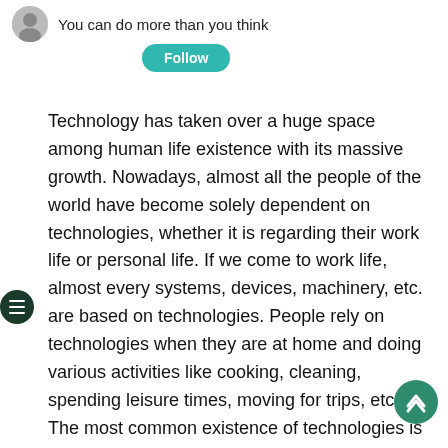You can do more than you think
Follow
Technology has taken over a huge space among human life existence with its massive growth. Nowadays, almost all the people of the world have become solely dependent on technologies, whether it is regarding their work life or personal life. If we come to work life, almost every systems, devices, machinery, etc. are based on technologies. People rely on technologies when they are at home and doing various activities like cooking, cleaning, spending leisure times, moving for trips, etc. The most common existence of technologies is seen in the usage of television, smartphones, video games, cameras, kitchen appliances, laptops, computers, and so on. We cannot end the list if we go on saying what technologies are so much popular among human beings.